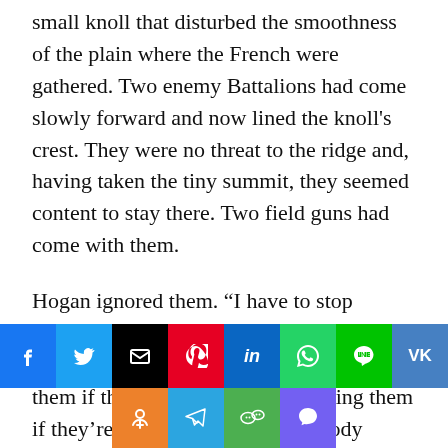small knoll that disturbed the smoothness of the plain where the French were gathered. Two enemy Battalions had come slowly forward and now lined the knoll's crest. They were no threat to the ridge and, having taken the tiny summit, they seemed content to stay there. Two field guns had come with them.
Hogan ignored them. “I have to stop Leroux, Richard. That’s my job. He’s taking my best people and he’s killing them if they’re Spanish and capturing them if they’re British, and he’s too bloody clever by half.” Sharpe was surprised by the gloom in his friend’s voice. Hogan was not usually
[Figure (infographic): Social sharing buttons: Facebook, Twitter, Email, Pinterest, LinkedIn, WhatsApp, Line, VK in top row; Odnoklassniki, Telegram, WeChat, Viber in bottom row]